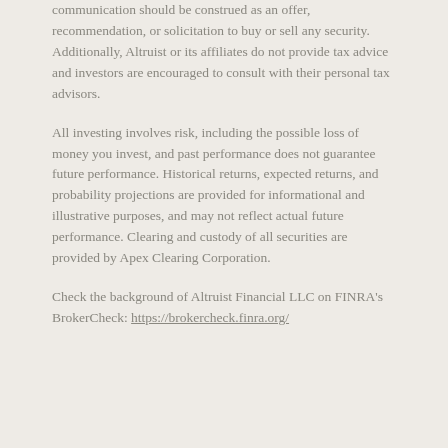communication should be construed as an offer, recommendation, or solicitation to buy or sell any security. Additionally, Altruist or its affiliates do not provide tax advice and investors are encouraged to consult with their personal tax advisors.
All investing involves risk, including the possible loss of money you invest, and past performance does not guarantee future performance. Historical returns, expected returns, and probability projections are provided for informational and illustrative purposes, and may not reflect actual future performance. Clearing and custody of all securities are provided by Apex Clearing Corporation.
Check the background of Altruist Financial LLC on FINRA's BrokerCheck: https://brokercheck.finra.org/